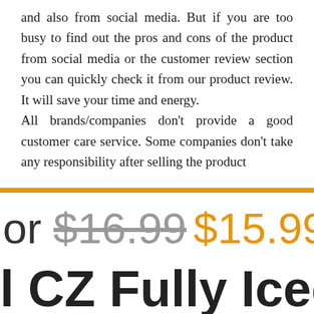and also from social media. But if you are too busy to find out the pros and cons of the product from social media or the customer review section you can quickly check it from our product review. It will save your time and energy. All brands/companies don't provide a good customer care service. Some companies don't take any responsibility after selling the product
or $16.99 $15.99
l CZ Fully Iced Ou